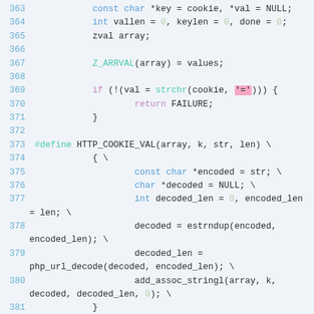[Figure (screenshot): Source code listing lines 363–383 showing C/PHP extension code with syntax highlighting. Lines include variable declarations, Z_ARRVAL macro usage, strchr call, HTTP_COOKIE_VAL macro definition, and HTTP_COOKIE_FIXKEY macro definition.]